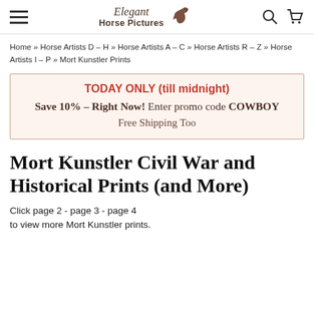Elegant Horse Pictures
Home » Horse Artists D – H » Horse Artists A – C » Horse Artists R – Z » Horse Artists I – P » Mort Kunstler Prints
TODAY ONLY (till midnight) Save 10% – Right Now! Enter promo code COWBOY Free Shipping Too
Mort Kunstler Civil War and Historical Prints (and More)
Click page 2 - page 3 - page 4 to view more Mort Kunstler prints.